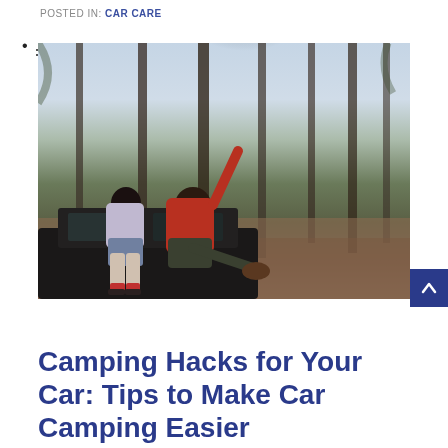POSTED IN: CAR CARE
[Figure (photo): Two people sitting on top of a dark SUV/truck in a pine forest. A man in a red jacket has his arm raised toward a tall pine tree, with bright sunlight flaring through the trees. A woman sits beside him. The forest floor is covered in pine needles and the light is bright and warm.]
Camping Hacks for Your Car: Tips to Make Car Camping Easier